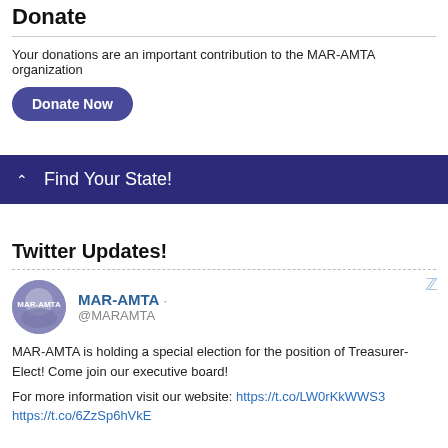Donate
Your donations are an important contribution to the MAR-AMTA organization
Donate Now
^ Find Your State!
Twitter Updates!
MAR-AMTA · @MARAMTA
MAR-AMTA is holding a special election for the position of Treasurer-Elect! Come join our executive board!
For more information visit our website: https://t.co/LW0rKkWWS3
https://t.co/6ZzSp6hVkE